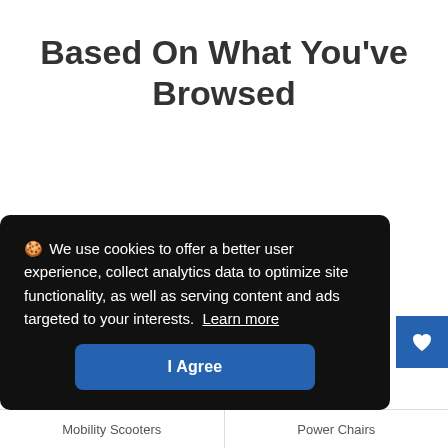Based On What You've Browsed
🍪 We use cookies to offer a better user experience, collect analytics data to optimize site functionality, as well as serving content and ads targeted to your interests.  Learn more
I Agree
[Figure (illustration): Blue square button with white heart icon (wishlist/favorite button)]
Mobility Scooters
Power Chairs